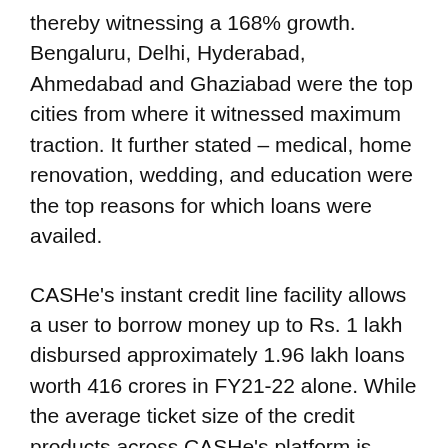thereby witnessing a 168% growth. Bengaluru, Delhi, Hyderabad, Ahmedabad and Ghaziabad were the top cities from where it witnessed maximum traction. It further stated – medical, home renovation, wedding, and education were the top reasons for which loans were availed.
CASHe's instant credit line facility allows a user to borrow money up to Rs. 1 lakh disbursed approximately 1.96 lakh loans worth 416 crores in FY21-22 alone. While the average ticket size of the credit products across CASHe's platform is approximately Rs. 40,000, the same is around Rs. 22,000 for its Credit Line facility.
The company's BNPL offering which enables customers to avail of flexible, interest-free credit line up to 20 lakhs to...